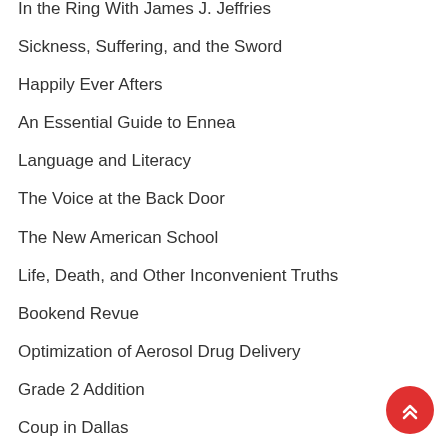In the Ring With James J. Jeffries
Sickness, Suffering, and the Sword
Happily Ever Afters
An Essential Guide to Ennea
Language and Literacy
The Voice at the Back Door
The New American School
Life, Death, and Other Inconvenient Truths
Bookend Revue
Optimization of Aerosol Drug Delivery
Grade 2 Addition
Coup in Dallas